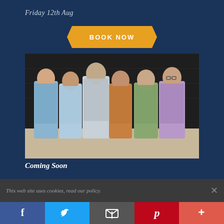Friday 12th Aug
[Figure (other): Orange ribbon/banner button with text BOOK NOW]
[Figure (photo): Group photo of six people (comedians/performers) standing together in front of a dark wooden backdrop, smiling and posing casually]
Coming Soon
This web site uses cookies, read our policy.
[Figure (infographic): Social media sharing bar with Facebook, Twitter, Email, Pinterest, and More buttons]